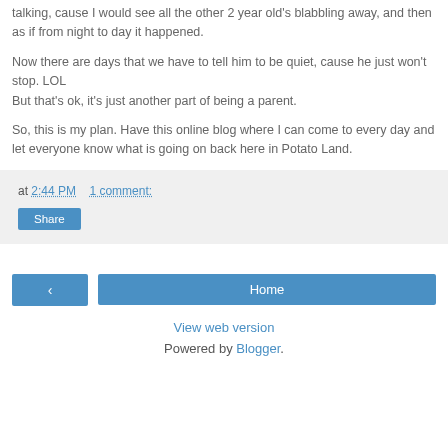talking, cause I would see all the other 2 year old's blabbling away, and then as if from night to day it happened.
Now there are days that we have to tell him to be quiet, cause he just won't stop. LOL
But that's ok, it's just another part of being a parent.
So, this is my plan. Have this online blog where I can come to every day and let everyone know what is going on back here in Potato Land.
at 2:44 PM   1 comment:
Share
Home
View web version
Powered by Blogger.